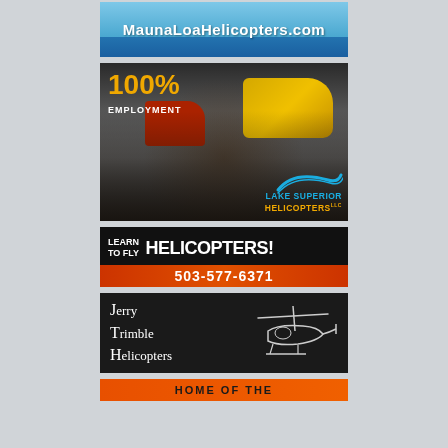[Figure (illustration): Mauna Loa Helicopters advertisement with blue sky/water background and white bold text showing the website URL]
[Figure (photo): Lake Superior Helicopters LLC advertisement showing group photo of 7 people in black uniforms in front of yellow and red helicopter in hangar, with '100% EMPLOYMENT' text overlay in orange/yellow and teal logo in bottom right]
[Figure (illustration): Black advertisement with white bold text 'LEARN TO FLY HELICOPTERS!' and orange bar showing phone number '503-577-6371']
[Figure (illustration): Dark background advertisement for 'Jerry Trimble Helicopters' with white serif text and white line-art helicopter sketch on right side]
[Figure (illustration): Partial orange advertisement bar at bottom, partially cut off, showing beginning of text]